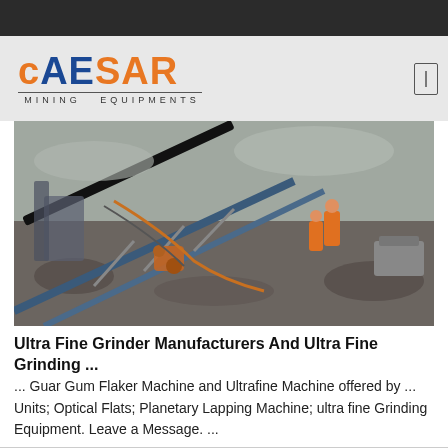CAESAR MINING EQUIPMENTS
[Figure (photo): Industrial mining site showing conveyor belts, machinery, and workers in orange safety gear on a rocky terrain.]
Ultra Fine Grinder Manufacturers And Ultra Fine Grinding ...
... Guar Gum Flaker Machine and Ultrafine Machine offered by ... Units; Optical Flats; Planetary Lapping Machine; ultra fine Grinding Equipment. Leave a Message. ...